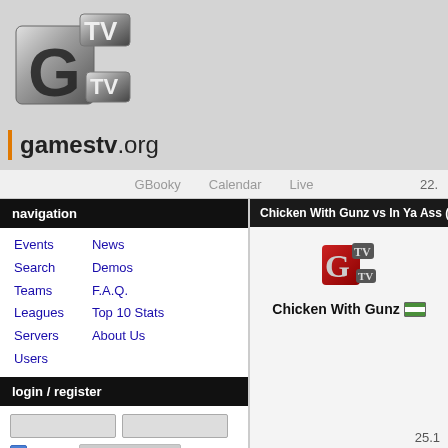[Figure (logo): GTV 3D metallic cube logo]
gamestv.org
GBooky   Calendar   Live   22.
navigation
Events
Search
Teams
Leagues
Servers
Users
News
Demos
F.A.Q.
Top 10 Stats
About Us
login / register
Cookie
Lost password
recent threads
Chicken With Gunz vs In Ya Ass (1355
[Figure (logo): GTV logo small red]
Chicken With Gunz
25.1